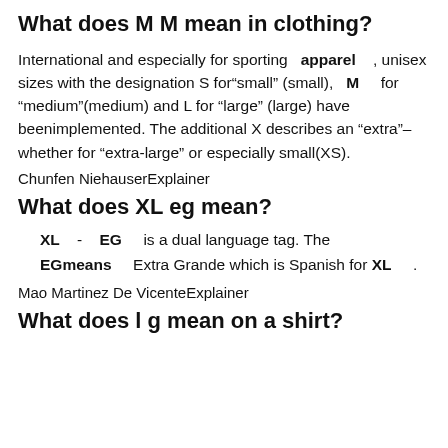What does M M mean in clothing?
International and especially for sporting apparel , unisex sizes with the designation S for“small” (small), M for “medium”(medium) and L for “large” (large) have beenimplemented. The additional X describes an “extra”– whether for “extra-large” or especially small(XS).
Chunfen NiehauserExplainer
What does XL eg mean?
XL - EG is a dual language tag. The EGmeans Extra Grande which is Spanish for XL .
Mao Martinez De VicenteExplainer
What does l g mean on a shirt?